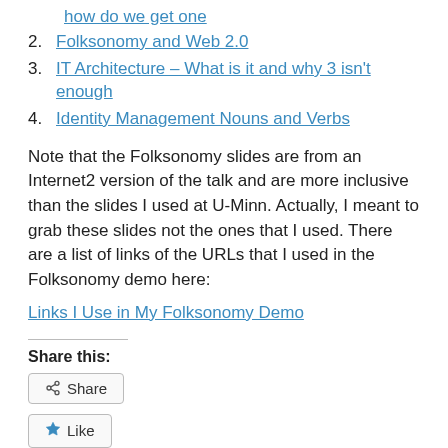how do we get one
2. Folksonomy and Web 2.0
3. IT Architecture – What is it and why 3 isn't enough
4. Identity Management Nouns and Verbs
Note that the Folksonomy slides are from an Internet2 version of the talk and are more inclusive than the slides I used at U-Minn. Actually, I meant to grab these slides not the ones that I used. There are a list of links of the URLs that I used in the Folksonomy demo here:
Links I Use in My Folksonomy Demo
Share this:
Share
Like
Be the first to like this.